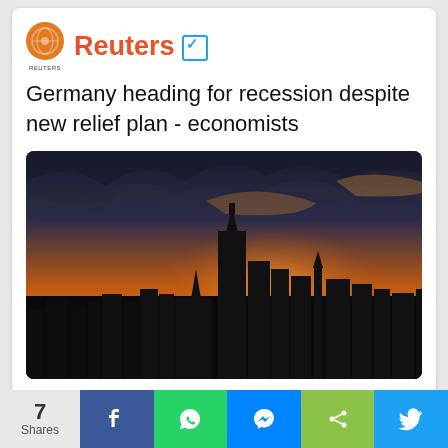Reuters ☑
Germany heading for recession despite new relief plan - economists
[Figure (photo): Silhouette of Frankfurt city skyline with skyscrapers against a dramatic orange and dark cloud sunset sky, with a river in the foreground reflecting warm light]
7 Shares